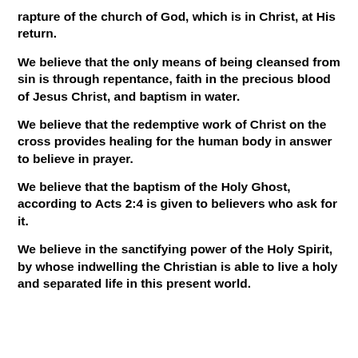rapture of the church of God, which is in Christ, at His return.
We believe that the only means of being cleansed from sin is through repentance, faith in the precious blood of Jesus Christ, and baptism in water.
We believe that the redemptive work of Christ on the cross provides healing for the human body in answer to believe in prayer.
We believe that the baptism of the Holy Ghost, according to Acts 2:4 is given to believers who ask for it.
We believe in the sanctifying power of the Holy Spirit, by whose indwelling the Christian is able to live a holy and separated life in this present world.